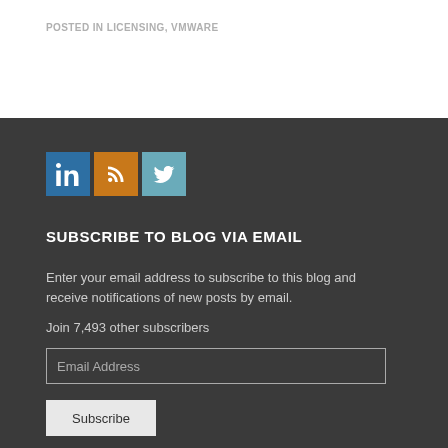POSTED IN LICENSING, VMWARE
[Figure (illustration): Social media icons: LinkedIn (blue), RSS (orange), Twitter (teal)]
SUBSCRIBE TO BLOG VIA EMAIL
Enter your email address to subscribe to this blog and receive notifications of new posts by email.
Join 7,493 other subscribers
Email Address
Subscribe